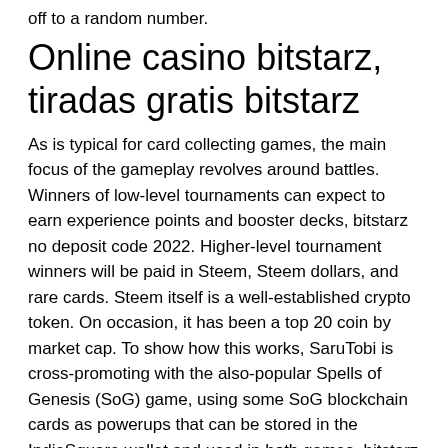off to a random number.
Online casino bitstarz, tiradas gratis bitstarz
As is typical for card collecting games, the main focus of the gameplay revolves around battles. Winners of low-level tournaments can expect to earn experience points and booster decks, bitstarz no deposit code 2022. Higher-level tournament winners will be paid in Steem, Steem dollars, and rare cards. Steem itself is a well-established crypto token. On occasion, it has been a top 20 coin by market cap. To show how this works, SaruTobi is cross-promoting with the also-popular Spells of Genesis (SoG) game, using some SoG blockchain cards as powerups that can be stored in the IndieSquare wallet and used in both games, bitstarz no deposit code 2022. Birdsbit / Frogfaucet / Bombcatch: